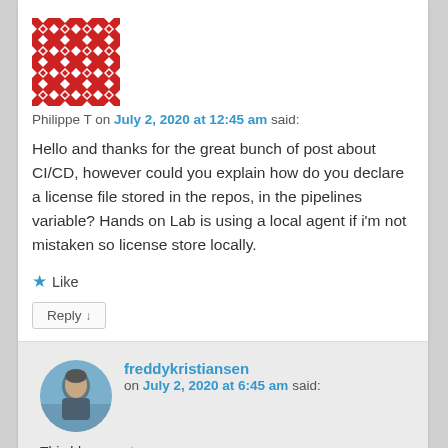[Figure (illustration): Red decorative geometric pattern avatar for Philippe T]
Philippe T on July 2, 2020 at 12:45 am said:
Hello and thanks for the great bunch of post about CI/CD, however could you explain how do you declare a license file stored in the repos, in the pipelines variable? Hands on Lab is using a local agent if i'm not mistaken so license store locally.
Like
Reply ↓
[Figure (photo): Profile photo of freddykristiansen, a man outdoors]
freddykristiansen on July 2, 2020 at 6:45 am said:
This blogs post:
https://freddysblog.com/2017/02/26/create-